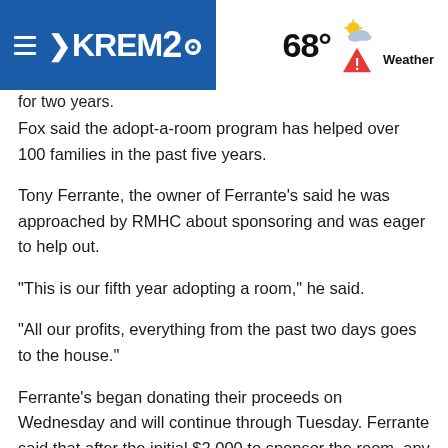KREM2 | 68° Weather
for two years.
Fox said the adopt-a-room program has helped over 100 families in the past five years.
Tony Ferrante, the owner of Ferrante's said he was approached by RMHC about sponsoring and was eager to help out.
"This is our fifth year adopting a room," he said.
"All our profits, everything from the past two days goes to the house."
Ferrante's began donating their proceeds on Wednesday and will continue through Tuesday. Ferrante said that after the initial $2,000 to sponsor the room, any extra funds would also go to the home.
"(It) will be for whatever they need, food, clothing, programs."